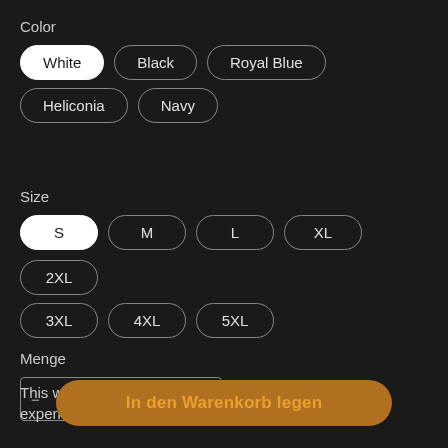Color
White (selected)
Black
Royal Blue
Heliconia
Navy
Size
S (selected)
M
L
XL
2XL
3XL
4XL
5XL
Menge
This website uses cookies to ensure you get the best experience. Learn more
In den Warenkorb legen